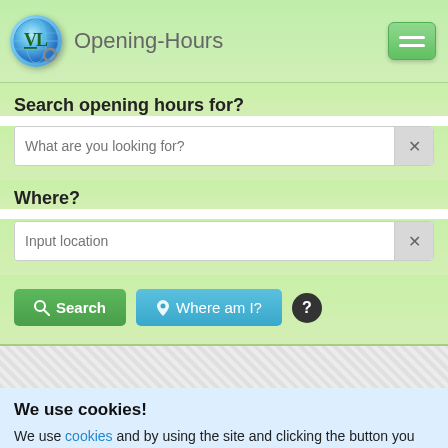Opening-Hours
Search opening hours for?
What are you looking for?
Where?
Input location
Search  Where am I?
We use cookies!
We use cookies and by using the site and clicking the button you agree to our rules specified on the cookie page. You can select which 3rd party vendors are allowed to place cookies on your computer by going to www.aboutads.info.  I Agree